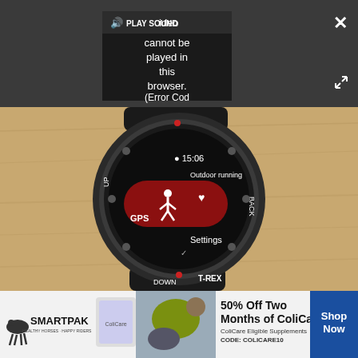[Figure (screenshot): Video player overlay on dark gray background showing a video error message in a dark box: 'PLAY SOUND  ideo cannot be played in this browser. (Error Cod' — with close (×) and fullscreen icons.]
[Figure (photo): Close-up photo of an Amazfit T-REX smartwatch displaying an 'Outdoor running' activity screen with GPS and Settings options, red pill-shaped button with running figure icon, on a wooden surface.]
[Figure (infographic): SmartPak advertisement banner: '50% Off Two Months of ColiCare, ColiCare Eligible Supplements, CODE: COLICARE10' with Shop Now button, horse and person image, and SmartPak logo.]